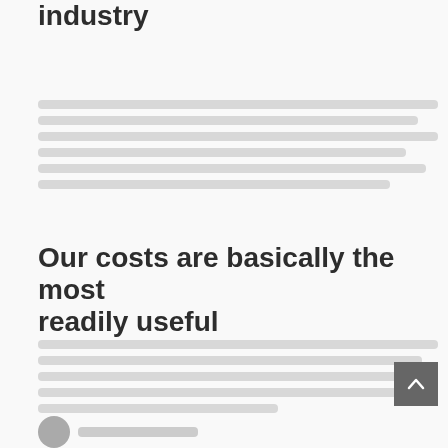…ways in almost every other industry
[body text paragraph, content redacted/blurred]
Our costs are basically the most readily useful
[body text paragraph, content redacted/blurred]
[Figure (other): Back-to-top navigation button with upward arrow, dark gray square]
[Figure (other): Avatar/profile image circle at bottom left with author name line]